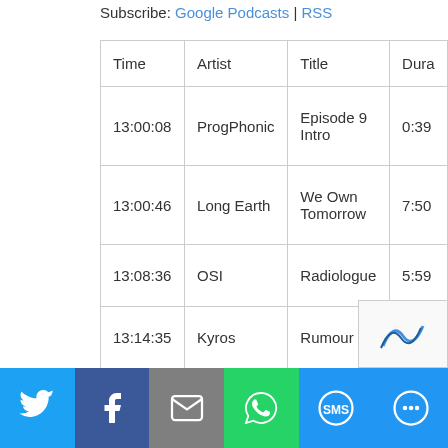Subscribe: Google Podcasts | RSS
| Time | Artist | Title | Dura… |
| --- | --- | --- | --- |
| 13:00:08 | ProgPhonic | Episode 9 Intro | 0:39 |
| 13:00:46 | Long Earth | We Own Tomorrow | 7:50 |
| 13:08:36 | OSI | Radiologue | 5:59 |
| 13:14:35 | Kyros | Rumour | 4:26 |
| 13:19:01 | Moron Police | The Phantom Below | 4:06 |